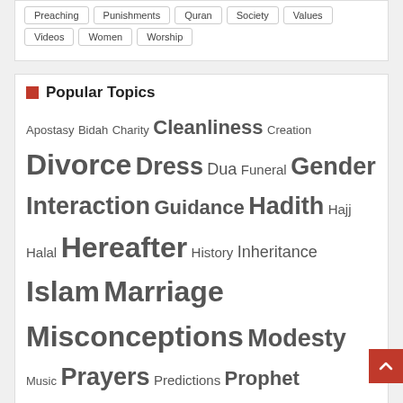Preaching, Punishments, Quran, Society, Values
Videos, Women, Worship
Popular Topics
Apostasy Bidah Charity Cleanliness Creation Divorce Dress Dua Funeral Gender Interaction Guidance Hadith Hajj Halal Hereafter History Inheritance Islam Marriage Misconceptions Modesty Music Prayers Predictions Prophet Muhammad (sws) Prophets Quran Ramadan Riba Sectarianism Shirk Sufism Sunnah Terrorism Zakat